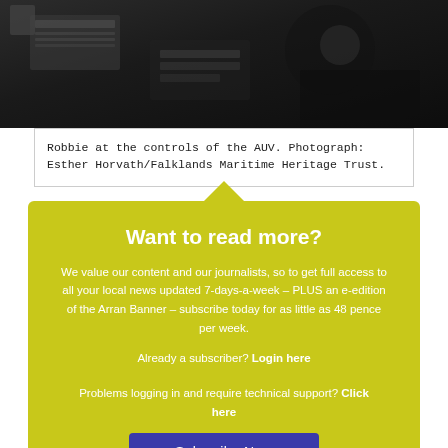[Figure (photo): Photo of Robbie at the controls of the AUV, dark background showing a person working at equipment]
Robbie at the controls of the AUV. Photograph: Esther Horvath/Falklands Maritime Heritage Trust.
Want to read more?
We value our content and our journalists, so to get full access to all your local news updated 7-days-a-week – PLUS an e-edition of the Arran Banner – subscribe today for as little as 48 pence per week.
Already a subscriber? Login here
Problems logging in and require technical support? Click here
Subscribe Now